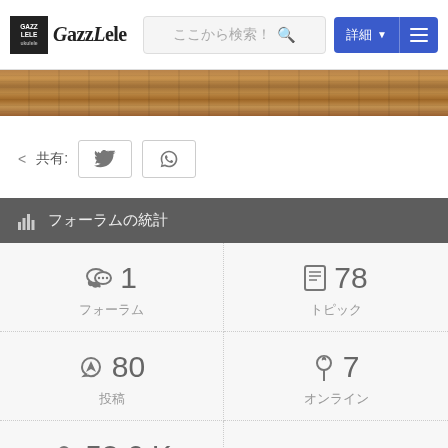GazzLele — ここから検索！ 詳細
[Figure (screenshot): Wood-grain decorative banner]
共有:
[Figure (infographic): Social share buttons: Twitter and WhatsApp]
フォーラムの統計
| 統計項目 | 値 |
| --- | --- |
| フォーラム | 1 |
| トピック | 78 |
| 投稿 | 80 |
| オンライン | 7 |
| 会員 | 58.6 K |